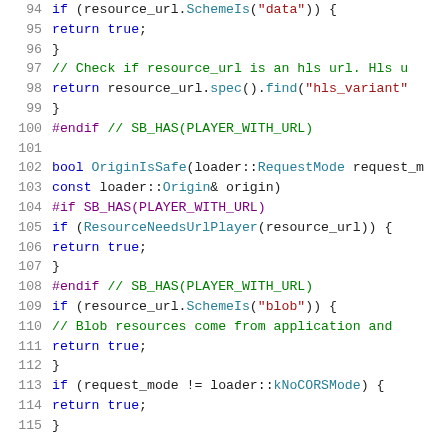[Figure (screenshot): Source code listing in a code editor showing C++ code with syntax highlighting, lines 94-115. Line numbers in gray on the left, keywords in blue, strings in red, comments in green, preprocessor directives in purple, function names in teal.]